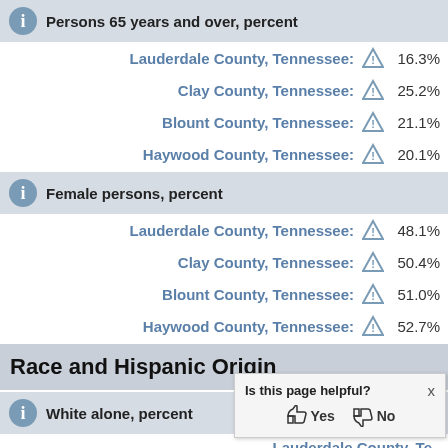Persons 65 years and over, percent
Lauderdale County, Tennessee: 16.3%
Clay County, Tennessee: 25.2%
Blount County, Tennessee: 21.1%
Haywood County, Tennessee: 20.1%
Female persons, percent
Lauderdale County, Tennessee: 48.1%
Clay County, Tennessee: 50.4%
Blount County, Tennessee: 51.0%
Haywood County, Tennessee: 52.7%
Race and Hispanic Origin
White alone, percent
Lauderdale County, Te...